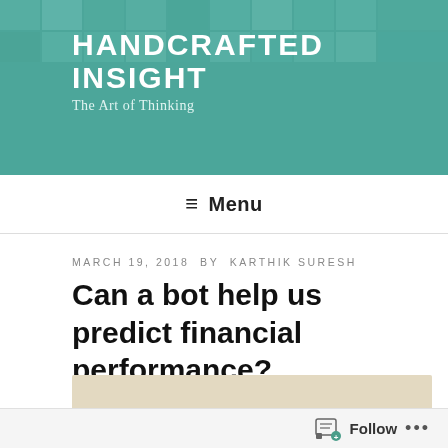HANDCRAFTED INSIGHT
The Art of Thinking
≡ Menu
MARCH 19, 2018 BY KARTHIK SURESH
Can a bot help us predict financial performance?
[Figure (illustration): Beige/tan background illustration showing the word 'Length' in green handwritten font, with annotations listing '# sentences', '# words', '# words/sentence' in handwritten style, with curved arrows.]
Follow